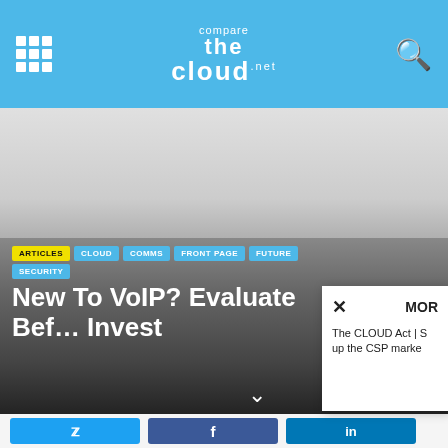comparethecloud.net – navigation header with grid menu, logo, and search icon
[Figure (screenshot): Gray advertisement/banner placeholder area]
ARTICLES
CLOUD
COMMS
FRONT PAGE
FUTURE
SECURITY
New To VoIP? Evaluate Before You Invest
The CLOUD Act | S... up the CSP marke...
[Figure (screenshot): Social share buttons: Twitter, Facebook, LinkedIn at bottom of page]